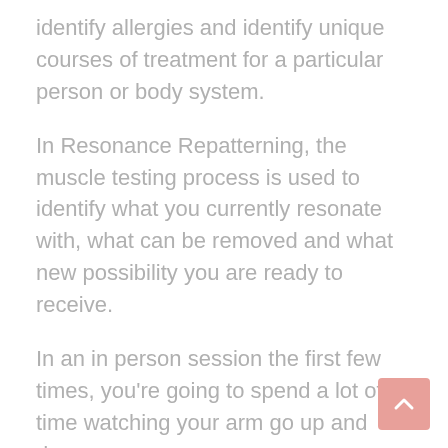identify allergies and identify unique courses of treatment for a particular person or body system.
In Resonance Repatterning, the muscle testing process is used to identify what you currently resonate with, what can be removed and what new possibility you are ready to receive.
In an in person session the first few times, you're going to spend a lot of time watching your arm go up and down.
It may feel a little confusing and overwhelming at first, but once you've had a few sessions – and seen all the amazing breakthroughs and results in your life – you'll begin to understand